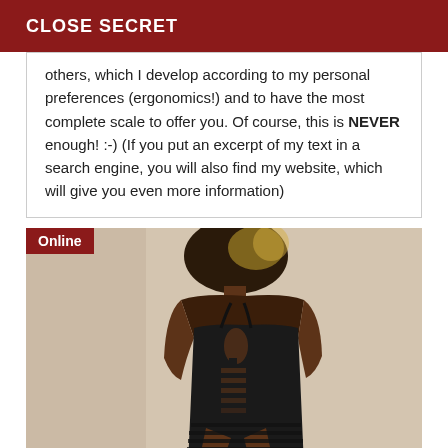CLOSE SECRET
others, which I develop according to my personal preferences (ergonomics!) and to have the most complete scale to offer you. Of course, this is NEVER enough! :-) (If you put an excerpt of my text in a search engine, you will also find my website, which will give you even more information)
[Figure (photo): Person wearing a black cut-out dress standing against a beige/tan wall, shown from head to mid-thigh. An 'Online' badge appears in the top-left corner of the image.]